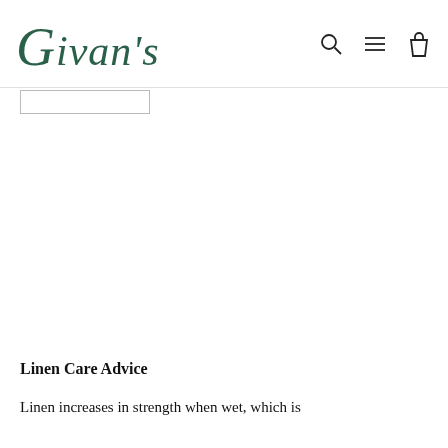Givan's
Linen Care Advice
Linen increases in strength when wet, which is